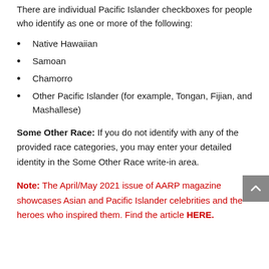There are individual Pacific Islander checkboxes for people who identify as one or more of the following:
Native Hawaiian
Samoan
Chamorro
Other Pacific Islander (for example, Tongan, Fijian, and Mashallese)
Some Other Race: If you do not identify with any of the provided race categories, you may enter your detailed identity in the Some Other Race write-in area.
Note: The April/May 2021 issue of AARP magazine showcases Asian and Pacific Islander celebrities and the heroes who inspired them. Find the article HERE.